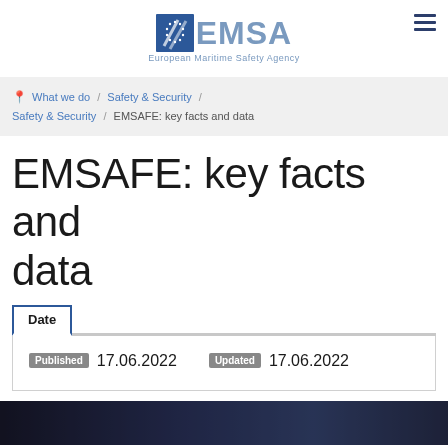[Figure (logo): EMSA European Maritime Safety Agency logo with blue chevron/flag mark and text]
What we do / Safety & Security / Safety & Security / EMSAFE: key facts and data
EMSAFE: key facts and data
| Published | Updated |
| --- | --- |
| 17.06.2022 | 17.06.2022 |
[Figure (photo): Dark background image strip at bottom of page]